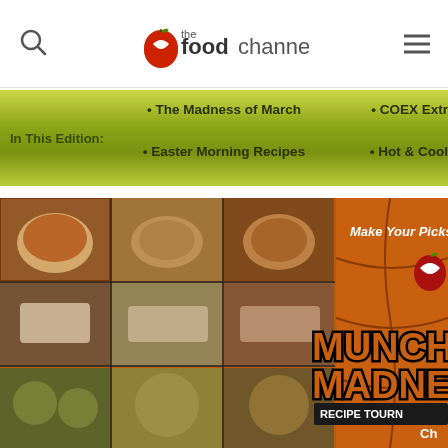the foodchannel
In This Edition: • The Madness of March • Easter Morning Recipes • COEX Extr... • Hot & Cool...
[Figure (photo): Food collage showing various dishes including soups, sandwiches, pizzas, and fried foods, overlaid with 'Munch Madness Recipe Tournament' text in basketball-themed orange and brown design with 'Make Your Picks' tagline]